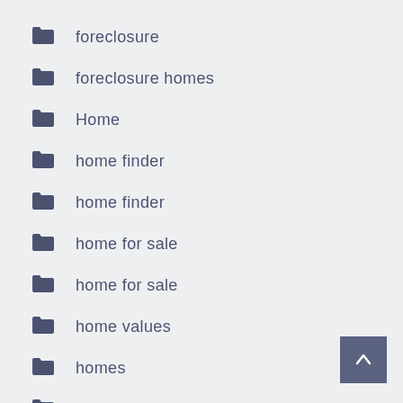foreclosure
foreclosure homes
Home
home finder
home finder
home for sale
home for sale
home values
homes
homes for sale by owner
hud homes